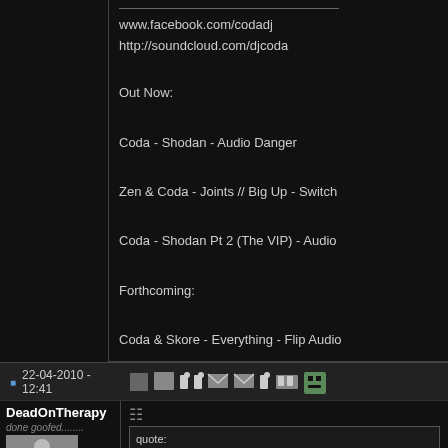www.facebook.com/codadj
http://soundcloud.com/djcoda

Out Now:

Coda - Shodan - Audio Danger

Zen & Coda - Joints // Big Up - Switch

Coda - Shodan Pt 2 (The VIP) - Audio

Forthcoming:

Coda & Skore - Everything - Flip Audio
Last edited by coda on 22-04-2010 at - 13:00
22-04-2010 - 12:41
DeadOnTherapy
done goofed........
Reg.: Dec 2006
Location: Past
quote:
Originally posted by coda
lol errrm..... this is not the ma